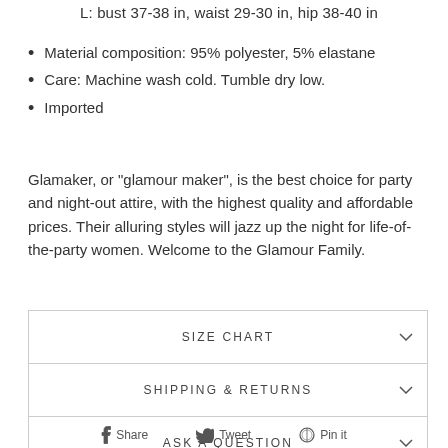L: bust 37-38 in, waist 29-30 in, hip 38-40 in
Material composition: 95% polyester, 5% elastane
Care: Machine wash cold. Tumble dry low.
Imported
Glamaker, or "glamour maker", is the best choice for party and night-out attire, with the highest quality and affordable prices. Their alluring styles will jazz up the night for life-of-the-party women. Welcome to the Glamour Family.
SIZE CHART
SHIPPING & RETURNS
ASK A QUESTION
REVIEWS
Share   Tweet   Pin it